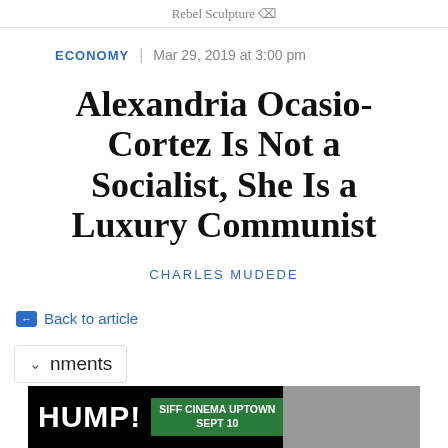Rebel Sculpture ☑
ECONOMY
Mar 29, 2019 at 3:00 pm
Alexandria Ocasio-Cortez Is Not a Socialist, She Is a Luxury Communist
CHARLES MUDEDE
← Back to article
∨ nments
[Figure (photo): Advertisement banner showing HUMP! film festival and SIFF CINEMA UPTOWN SEPT 10]